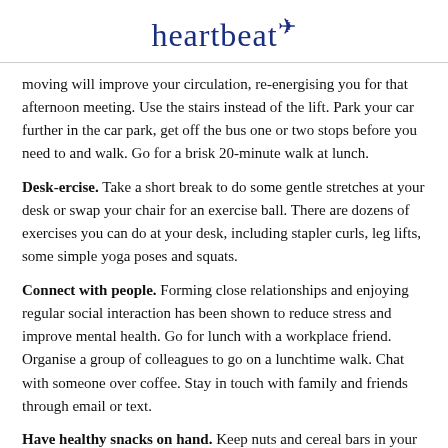heartbeat+
moving will improve your circulation, re-energising you for that afternoon meeting. Use the stairs instead of the lift. Park your car further in the car park, get off the bus one or two stops before you need to and walk. Go for a brisk 20-minute walk at lunch.
Desk-ercise. Take a short break to do some gentle stretches at your desk or swap your chair for an exercise ball. There are dozens of exercises you can do at your desk, including stapler curls, leg lifts, some simple yoga poses and squats.
Connect with people. Forming close relationships and enjoying regular social interaction has been shown to reduce stress and improve mental health. Go for lunch with a workplace friend. Organise a group of colleagues to go on a lunchtime walk. Chat with someone over coffee. Stay in touch with family and friends through email or text.
Have healthy snacks on hand. Keep nuts and cereal bars in your desk drawer or car, and bring in fresh fruit to munch on. This will help you avoid the temptation of the office vending